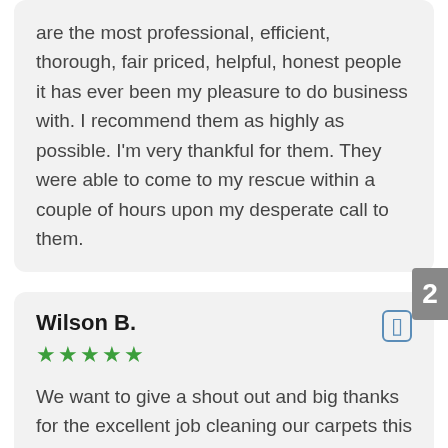are the most professional, efficient, thorough, fair priced, helpful, honest people it has ever been my pleasure to do business with. I recommend them as highly as possible. I'm very thankful for them. They were able to come to my rescue within a couple of hours upon my desperate call to them.
Wilson B.
★★★★★
We want to give a shout out and big thanks for the excellent job cleaning our carpets this past Friday. Michael was on time, professional, and efficient. Our carpets look new once again. Thanks so much.